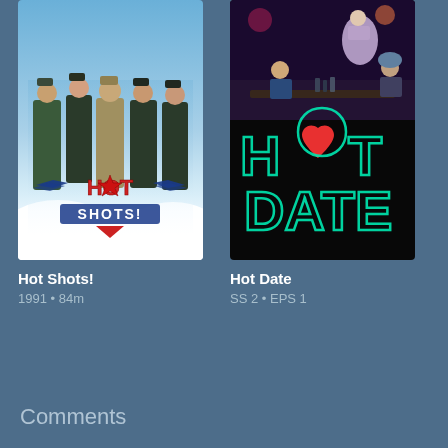[Figure (photo): Movie poster for Hot Shots! (1991) showing actors in military flight suits standing in clouds, with the Hot Shots! logo featuring a star and wings]
Hot Shots!
1991 • 84m
[Figure (photo): TV show poster for Hot Date showing people in a bar scene at top and large neon-style text 'HOT DATE' with a red heart replacing the O in HOT]
Hot Date
SS 2 • EPS 1
Comments